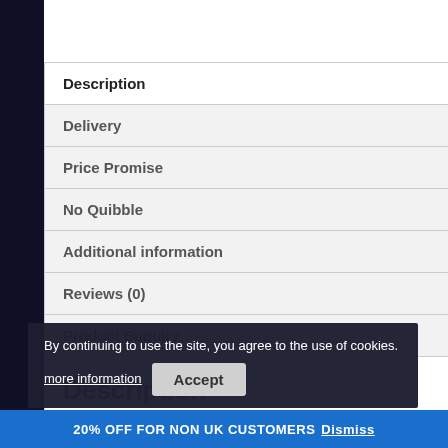Description
Delivery
Price Promise
No Quibble
Additional information
Reviews (0)
Product Enquiry
Description
DELUX…(DE…O)
By continuing to use the site, you agree to the use of cookies.
more information
Accept
20% OFF FOR NON UK CUSTOMERS Dismiss